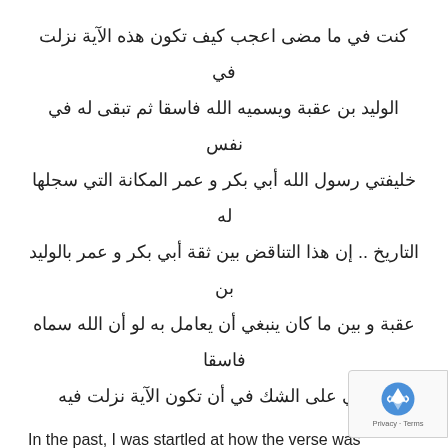كنت في ما مضى اعجب كيف تكون هذه الآية نزلت في الوليد بن عقبة ويسميه الله فاسقا ثم تبقى له في نفس خليفتي رسول الله أبي بكر و عمر المكانة التي سجلها له التاريخ .. إن هذا التناقض بين ثقة أبي بكر و عمر بالوليد بن عقبة و بين ما كان ينبغي أن يعامل به لو أن الله سماه فاسقا حملني على الشك في أن تكون الآية نزلت فيه
In the past, I was startled at how the verse was revealed concerning Sayyidina Walid ibn 'Uqbah radiya Llahu 'anhu and Allah labelling him a fasiq but then he continues to enjoy a lofty rank in the reign of Rasulullah's salla Llahu 'alayhi wa sallam two khalifahs, Abu Bakr and 'Umar, which history bears testimony to. This is inconsistency between Abu Bakr and 'Umar's trust for Sayyidina Walid ibn 'Uqbah radiya